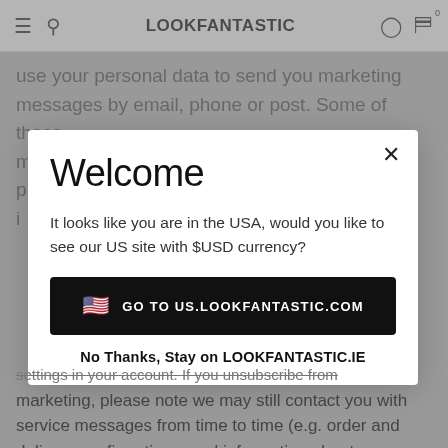LOOKFANTASTIC
use your personal data to send you marketing messages by email, phone or post. Some of these m... p... i...
Welcome
It looks like you are in the USA, would you like to see our US site with $USD currency?
GO TO US.LOOKFANTASTIC.COM
No Thanks, Stay on LOOKFANTASTIC.IE
settings in your account. If you unsubscribe from marketing, please note we may still contact you with service messages from time to time (e.g. order and delivery confirmations, and information about your legal rights).